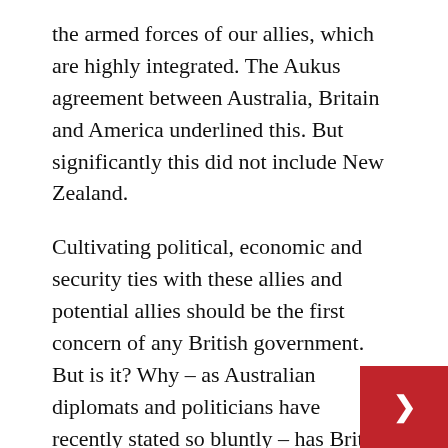the armed forces of our allies, which are highly integrated. The Aukus agreement between Australia, Britain and America underlined this. But significantly this did not include New Zealand.
Cultivating political, economic and security ties with these allies and potential allies should be the first concern of any British government. But is it? Why – as Australian diplomats and politicians have recently stated so bluntly – has Britain been reluctant to strike trade deals with our friends and natural economic partners? Their view is that UK officials, lobbies and timid politicians have preferred to maintain ties with EU suppliers rather than diversify our sources of supply.
For example, we import 280,000 tonnes of beef from the EU annually, but our new trade treaty with